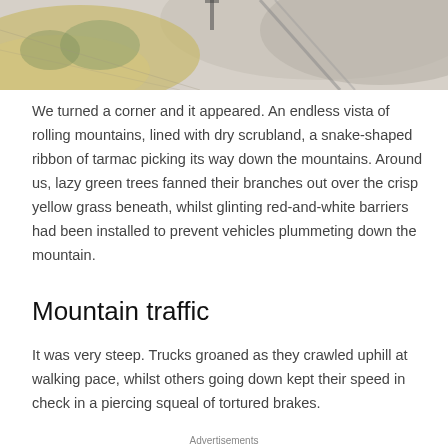[Figure (illustration): Partial illustration of a mountain landscape with pencil/watercolor sketch showing road, yellow and green terrain, rocks — cropped at top of page]
We turned a corner and it appeared. An endless vista of rolling mountains, lined with dry scrubland, a snake-shaped ribbon of tarmac picking its way down the mountains. Around us, lazy green trees fanned their branches out over the crisp yellow grass beneath, whilst glinting red-and-white barriers had been installed to prevent vehicles plummeting down the mountain.
Mountain traffic
It was very steep. Trucks groaned as they crawled uphill at walking pace, whilst others going down kept their speed in check in a piercing squeal of tortured brakes.
Advertisements